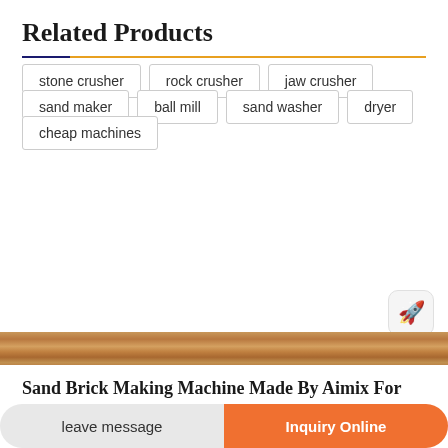Related Products
stone crusher
rock crusher
jaw crusher
sand maker
ball mill
sand washer
dryer
cheap machines
[Figure (photo): Wooden strip / banner image]
Sand Brick Making Machine Made By Aimix For Sale
the features of the sand lime brick making machine our lime sand brick
leave message | Inquiry Online